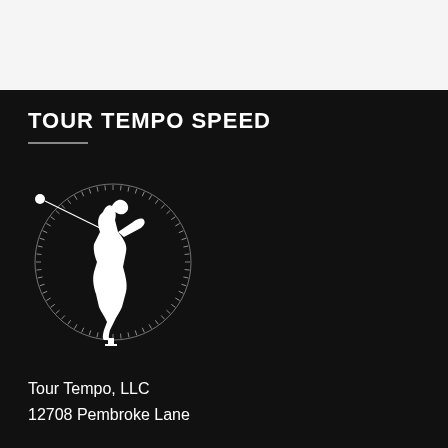TOUR TEMPO SPEED
[Figure (logo): Tour Tempo Speed logo: white silhouette of a golfer at top of backswing, superimposed on a circular clock/gauge dial with tick marks, on a black background. A golf ball and shaft extend upper-left from the figure.]
Tour Tempo, LLC
12708 Pembroke Lane